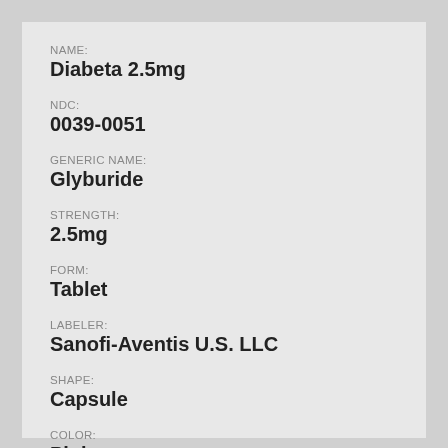NAME: Diabeta 2.5mg
NDC: 0039-0051
GENERIC NAME: Glyburide
STRENGTH: 2.5mg
FORM: Tablet
LABELER: Sanofi-Aventis U.S. LLC
SHAPE: Capsule
COLOR: Pink